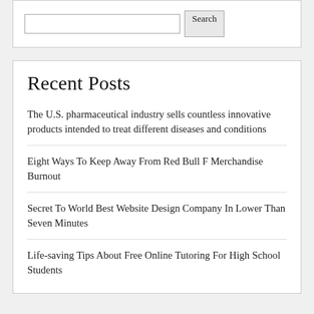Search
Recent Posts
The U.S. pharmaceutical industry sells countless innovative products intended to treat different diseases and conditions
Eight Ways To Keep Away From Red Bull F Merchandise Burnout
Secret To World Best Website Design Company In Lower Than Seven Minutes
Life-saving Tips About Free Online Tutoring For High School Students